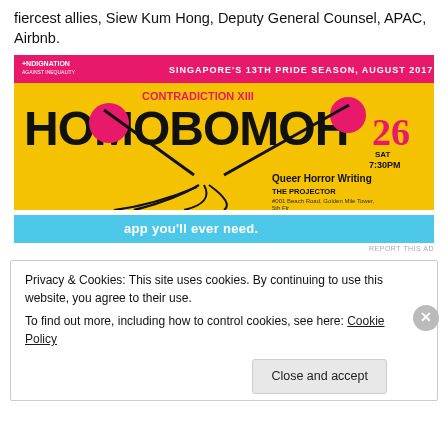fiercest allies, Siew Kum Hong, Deputy General Counsel, APAC, Airbnb.
[Figure (illustration): Event banner for Indignation Singapore's 13th Pride Season August 2017. Yellow background with large stylized text 'HOMOBOMOH', subtitle 'CONTRADICTION XIII', date 26 SAT 7:30PM, event title 'Queer Horror Writing', venue 'THE PROJECTOR, #001 Beach Road, Golden Mile Tower, 5th Flr'. Pink figure holding pink spheres above the text.]
[Figure (screenshot): Partial advertisement banner with cyan/blue background and white text partially visible reading 'app you'll ever need.']
REPORT THIS AD
Privacy & Cookies: This site uses cookies. By continuing to use this website, you agree to their use.
To find out more, including how to control cookies, see here: Cookie Policy
Close and accept